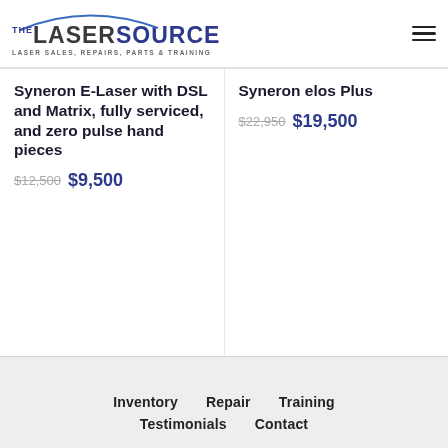[Figure (logo): The Laser Source logo with arc, company name and tagline 'LASER SALES, REPAIRS, PARTS & TRAINING']
Syneron E-Laser with DSL and Matrix, fully serviced, and zero pulse hand pieces
$12,500 $9,500
Syneron elos Plus
$22,950 $19,500
Inventory  Repair  Training  Testimonials  Contact